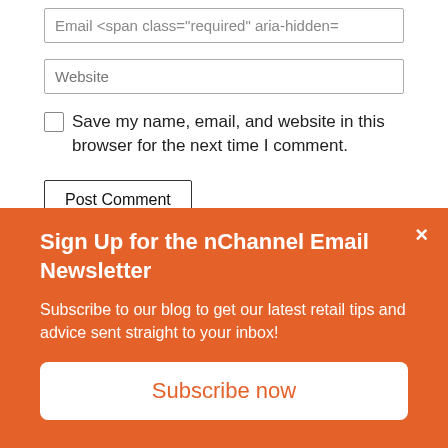Email <span class="required" aria-hidden=
Website
Save my name, email, and website in this browser for the next time I comment.
Post Comment
Learn more about nChannel!
We help any merchant sell any product through any
Sign Up for the nChannel Email Newsletter
Subscribe to our blog to get our latest retail tips and advice sent straight to your inbox!
Subscribe now